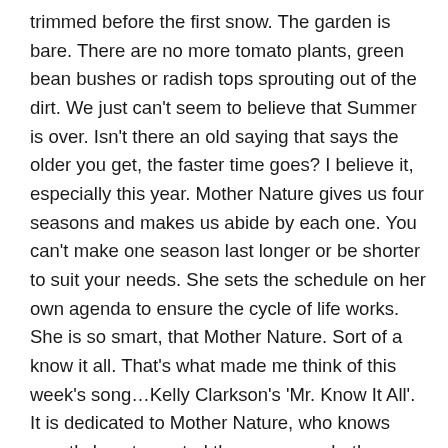trimmed before the first snow.  The garden is bare.  There are no more tomato plants, green bean bushes or radish tops sprouting out of the dirt.  We just can't seem to believe that Summer is over.  Isn't there an old saying that says the older you get, the faster time goes?  I believe it, especially this year.  Mother Nature gives us four seasons and makes us abide by each one.  You can't make one season last longer or be shorter to suit your needs.  She sets the schedule on her own agenda to ensure the cycle of life works.  She is so smart, that Mother Nature.  Sort of a know it all.  That's what made me think of this week's song…Kelly Clarkson's 'Mr. Know It All'.  It is dedicated to Mother Nature, who knows exactly how to control the seasons whether you like it or not.  You've made it through another week, so go ahead and dance.  You deserve to celebrate.  Turn up your computer speakers and let it rip.